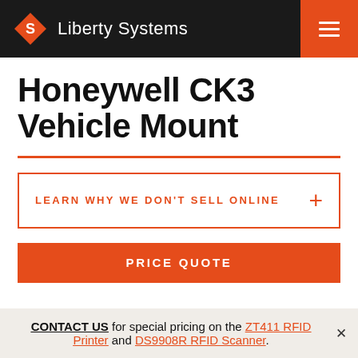Liberty Systems
Honeywell CK3 Vehicle Mount
LEARN WHY WE DON'T SELL ONLINE
PRICE QUOTE
CONTACT US for special pricing on the ZT411 RFID Printer and DS9908R RFID Scanner.